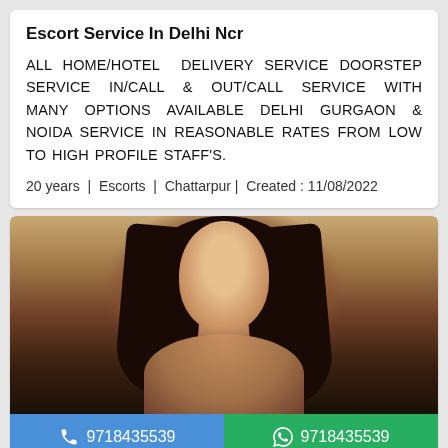Escort Service In Delhi Ncr
ALL HOME/HOTEL DELIVERY SERVICE DOORSTEP SERVICE IN/CALL & OUT/CALL SERVICE WITH MANY OPTIONS AVAILABLE DELHI GURGAON & NOIDA SERVICE IN REASONABLE RATES FROM LOW TO HIGH PROFILE STAFF'S.
20 years | Escorts | Chattarpur | Created : 11/08/2022
[Figure (photo): Photo of a young woman with long dark hair, looking downward, warm-toned background. Two buttons at the bottom: blue call button and green WhatsApp button, both showing 9718435539.]